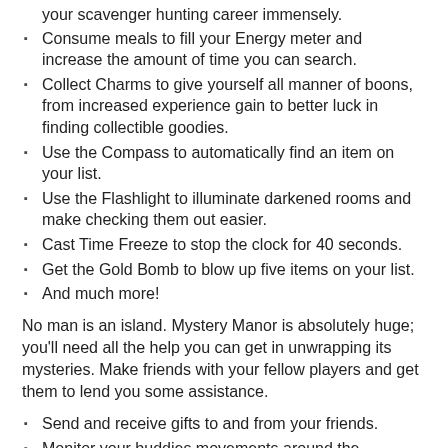your scavenger hunting career immensely.
Consume meals to fill your Energy meter and increase the amount of time you can search.
Collect Charms to give yourself all manner of boons, from increased experience gain to better luck in finding collectible goodies.
Use the Compass to automatically find an item on your list.
Use the Flashlight to illuminate darkened rooms and make checking them out easier.
Cast Time Freeze to stop the clock for 40 seconds.
Get the Gold Bomb to blow up five items on your list.
And much more!
No man is an island. Mystery Manor is absolutely huge; you’ll need all the help you can get in unwrapping its mysteries. Make friends with your fellow players and get them to lend you some assistance.
Send and receive gifts to and from your friends.
Monitor your buddies movements around the mansion...